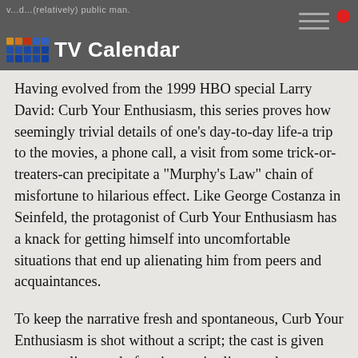TV Calendar
Having evolved from the 1999 HBO special Larry David: Curb Your Enthusiasm, this series proves how seemingly trivial details of one's day-to-day life-a trip to the movies, a phone call, a visit from some trick-or-treaters-can precipitate a "Murphy's Law" chain of misfortune to hilarious effect. Like George Costanza in Seinfeld, the protagonist of Curb Your Enthusiasm has a knack for getting himself into uncomfortable situations that end up alienating him from peers and acquaintances.
To keep the narrative fresh and spontaneous, Curb Your Enthusiasm is shot without a script; the cast is given scene outlines and often improvise lines as they go. The result is an unpredictable format that's unlike anything else on TV.